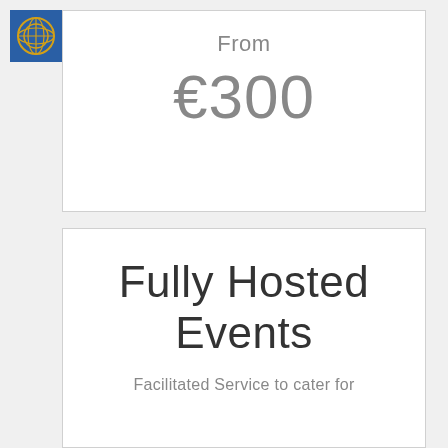[Figure (logo): Blue square logo with a gold/white circular emblem icon]
From
€300
Fully Hosted Events
Facilitated Service to cater for